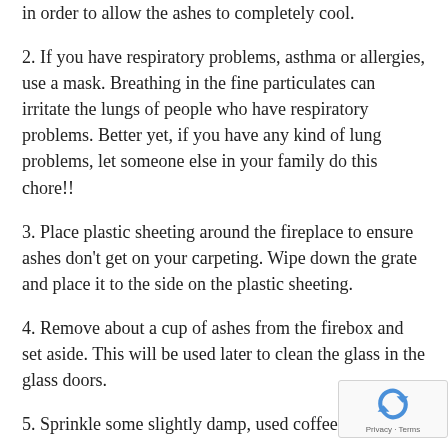in order to allow the ashes to completely cool.
2. If you have respiratory problems, asthma or allergies, use a mask. Breathing in the fine particulates can irritate the lungs of people who have respiratory problems. Better yet, if you have any kind of lung problems, let someone else in your family do this chore!!
3. Place plastic sheeting around the fireplace to ensure ashes don't get on your carpeting. Wipe down the grate and place it to the side on the plastic sheeting.
4. Remove about a cup of ashes from the firebox and set aside. This will be used later to clean the glass in the glass doors.
5. Sprinkle some slightly damp, used coffee groun…